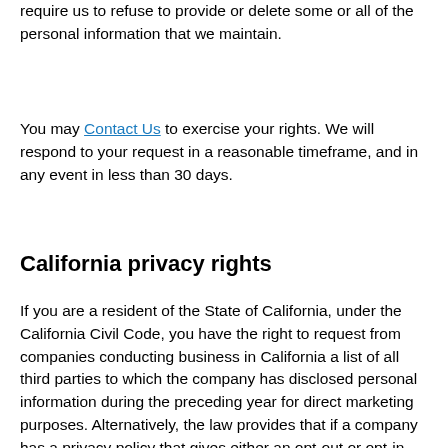require us to refuse to provide or delete some or all of the personal information that we maintain.
You may Contact Us to exercise your rights. We will respond to your request in a reasonable timeframe, and in any event in less than 30 days.
California privacy rights
If you are a resident of the State of California, under the California Civil Code, you have the right to request from companies conducting business in California a list of all third parties to which the company has disclosed personal information during the preceding year for direct marketing purposes. Alternatively, the law provides that if a company has a privacy policy that gives either an opt-out or opt-in choice for use of your personal information by third parties (such as advertisers) for marketing purposes, the company may instead provide you with information on how to exercise your disclosure choice options.
Vanaia qualifies for the alternative option; it provides you with details on how you may either opt-out or opt-in to the use of your personal information by third parties for direct marketing purposes. Therefore,